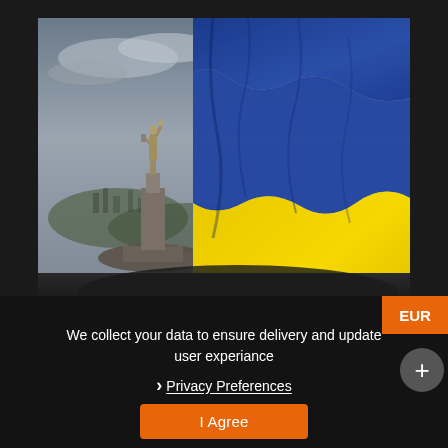[Figure (photo): Aerial photo of the Motherland Monument statue in Kyiv, Ukraine, with a large Ukrainian blue and yellow flag waving prominently in the foreground. Cloudy sky, city in background.]
We collect your data to ensure delivery and update user experiance
› Privacy Preferences
I Agree
EUR